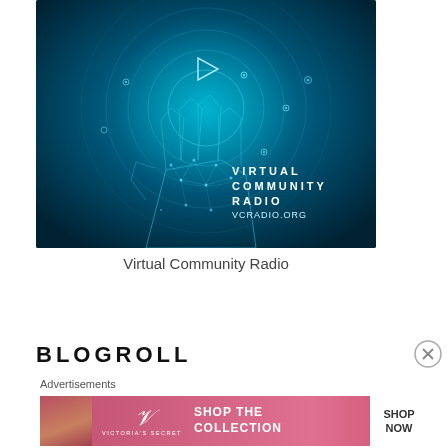[Figure (illustration): Virtual Community Radio advertisement image: a glowing blue geometric polygon hand reaching up toward a play button icon, surrounded by concentric circles and network nodes on a dark teal background. Text reads: VIRTUAL COMMUNITY RADIO VCRADIO.ORG]
Virtual Community Radio
BLOGROLL
Advertisements
[Figure (photo): Victoria's Secret advertisement banner: model on pink background with script VS logo, text SHOP THE COLLECTION, and white button SHOP NOW]